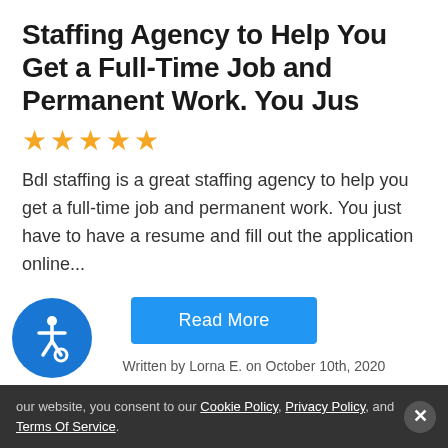Staffing Agency to Help You Get a Full-Time Job and Permanent Work. You Jus
[Figure (other): Five gold star rating icons]
Bdl staffing is a great staffing agency to help you get a full-time job and permanent work. You just have to have a resume and fill out the application online...
Read More
Written by Lorna E. on October 10th, 2020
[Figure (illustration): Blue circle accessibility icon with wheelchair symbol]
our website, you consent to our Cookie Policy, Privacy Policy, and Terms Of Service.